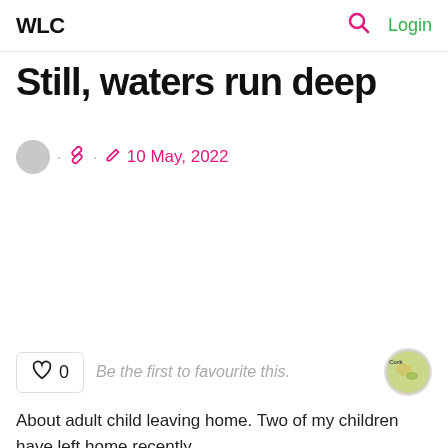WLC  Login
Still, waters run deep
10 May, 2022
♡ 0   Be the first to favourite this.
About adult child leaving home. Two of my children have left home recently
Still, waters run deep